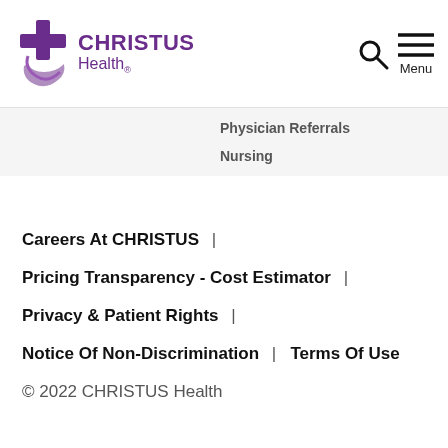CHRISTUS Health
Physician Referrals
Nursing
Careers At CHRISTUS  |
Pricing Transparency - Cost Estimator  |
Privacy & Patient Rights  |
Notice Of Non-Discrimination  |  Terms Of Use
© 2022 CHRISTUS Health